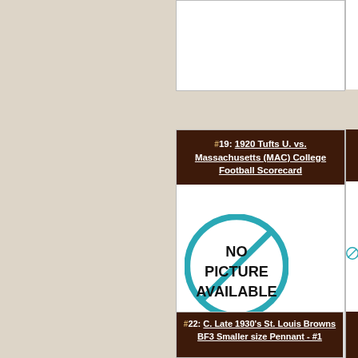[Figure (other): Partial view of top auction card, mostly white/blank]
#19: 1920 Tufts U. vs. Massachusetts (MAC) College Football Scorecard
[Figure (illustration): No Picture Available icon - teal circle with slash over text]
# Bids: 0
Min Bid: $10.00
Final Price: None
#22: C. Late 1930's St. Louis Browns BF3 Smaller size Pennant - #1